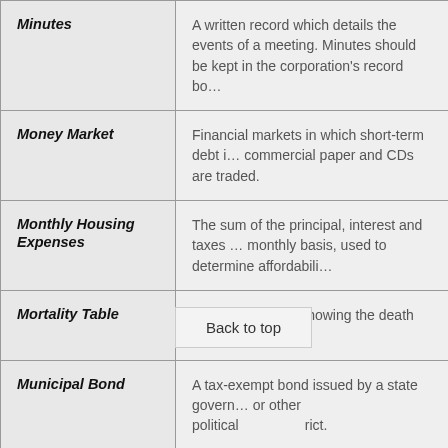| Term | Definition |
| --- | --- |
| Minutes | A written record which details the events of a meeting. Minutes should be kept in the corporation's record book. |
| Money Market | Financial markets in which short-term debt instruments such as commercial paper and CDs are traded. |
| Monthly Housing Expenses | The sum of the principal, interest and taxes paid on a monthly basis, used to determine affordability. |
| Mortality Table | A statistical table showing the death rates of people at various ages. |
| Municipal Bond | A tax-exempt bond issued by a state government, municipality, or other political subdivision such as a county or special district. |
| Name Reservation | The name of a corporation or LLC must be approved by the state government. If the name is not unique, articles of incorporation or articles of organization in that state cannot be reserved, usually for 120 days, by applying with the state and paying a fee. |